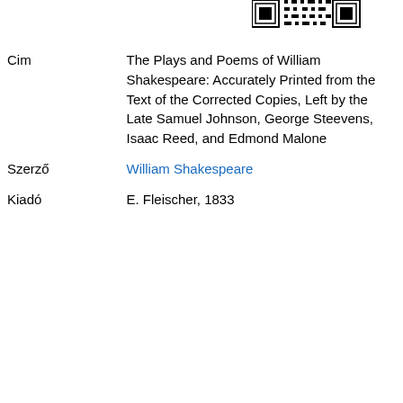[Figure (other): QR code / barcode image at top right]
| Cim | The Plays and Poems of William Shakespeare: Accurately Printed from the Text of the Corrected Copies, Left by the Late Samuel Johnson, George Steevens, Isaac Reed, and Edmond Malone |
| Szerző | William Shakespeare |
| Kiadó | E. Fleischer, 1833 |